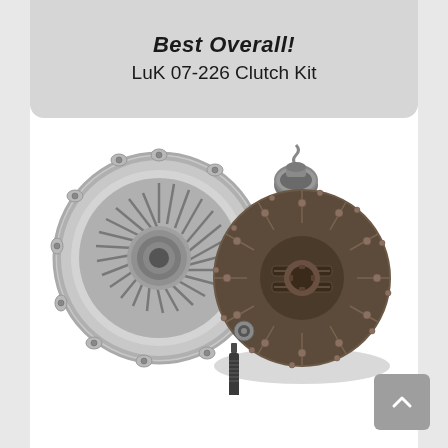Best Overall! LuK 07-226 Clutch Kit
[Figure (photo): Product photo of LuK 07-226 Clutch Kit showing pressure plate, clutch disc, throwout bearing, alignment tool, and pilot bearing laid out on white background]